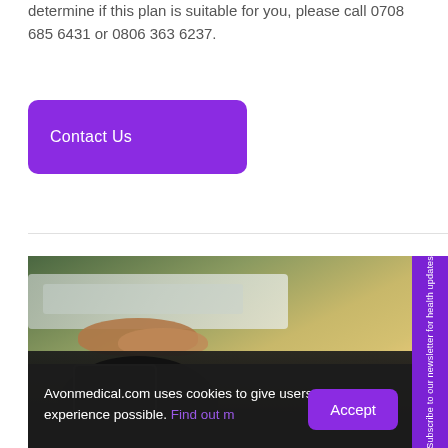determine if this plan is suitable for you, please call 0708 685 6431 or 0806 363 6237.
Contact Us
[Figure (photo): Person sitting in a chair, hands folded, with green curtains and yellow sofa in background]
Avonmedical.com uses cookies to give users the best experience possible. Find out more
Accept
Subscribe to our newsletter for health updates